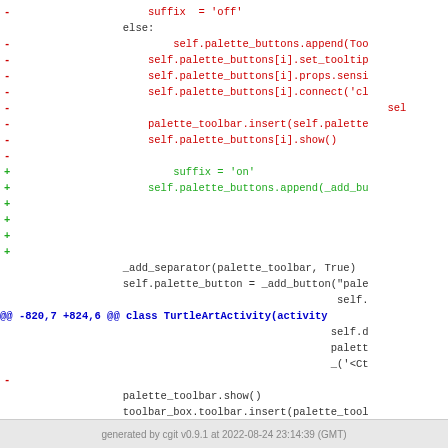[Figure (screenshot): Code diff view showing removed (red) and added (green) lines of Python code for palette button handling in TurtleArtActivity class, with context lines in black and a git diff hunk header in blue.]
generated by cgit v0.9.1 at 2022-08-24 23:14:39 (GMT)